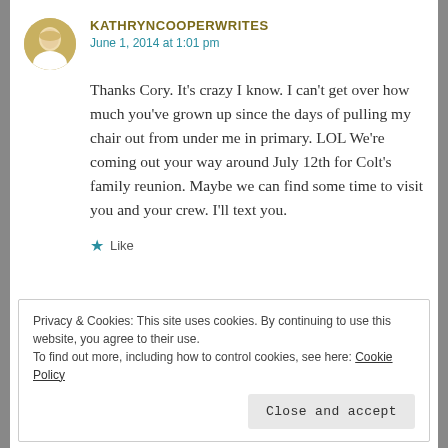[Figure (photo): Circular avatar photo of a woman with blonde hair wearing white, against a golden/wheat field background]
KATHRYNCOOPERWRITES
June 1, 2014 at 1:01 pm
Thanks Cory. It’s crazy I know. I can’t get over how much you’ve grown up since the days of pulling my chair out from under me in primary. LOL We’re coming out your way around July 12th for Colt’s family reunion. Maybe we can find some time to visit you and your crew. I’ll text you.
★ Like
Privacy & Cookies: This site uses cookies. By continuing to use this website, you agree to their use.
To find out more, including how to control cookies, see here: Cookie Policy
Close and accept